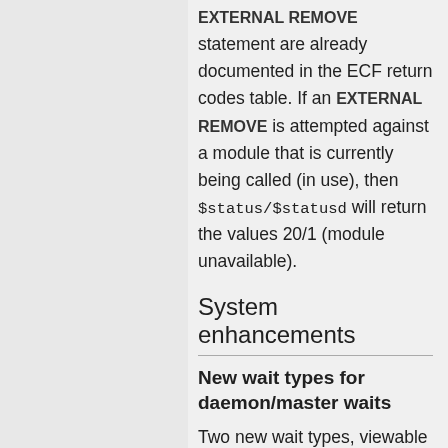EXTERNAL REMOVE statement are already documented in the ECF return codes table. If an EXTERNAL REMOVE is attempted against a module that is currently being called (in use), then $status/$statusd will return the values 20/1 (module unavailable).
System enhancements
New wait types for daemon/master waits
Two new wait types, viewable on the MONITOR USERS command output, have been implemented as follows:
57 - Means a daemon thread waiting for its master thread
58 - Means a master thread waiting